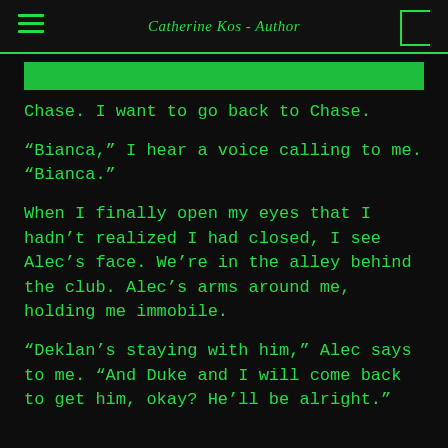Catherine Kos - Author
Chase. I want to go back to Chase.
“Bianca,” I hear a voice calling to me. “Bianca.”
When I finally open my eyes that I hadn’t realized I had closed, I see Alec’s face. We’re in the alley behind the club. Alec’s arms around me, holding me immobile.
“Deklan’s staying with him,” Alec says to me. “And Duke and I will come back to get him, okay? He’ll be alright.”